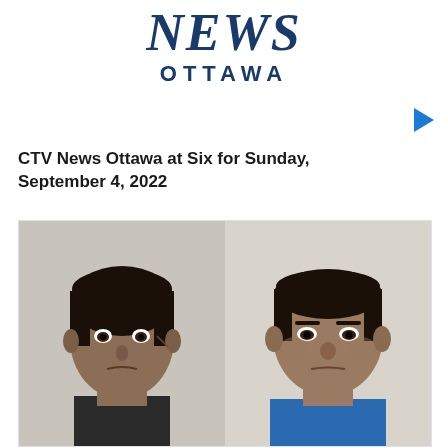[Figure (logo): CTV News Ottawa logo with large stylized italic 'NEWS' in dark navy and 'OTTAWA' in bold caps below]
[Figure (other): Small blue right-pointing play button triangle]
CTV News Ottawa at Six for Sunday, September 4, 2022
[Figure (photo): Side-by-side mugshot photos of two men. Left: younger man with dark hair wearing dark shirt, against a light wall background. Right: older man with short dark hair wearing a blue shirt, against a light background.]